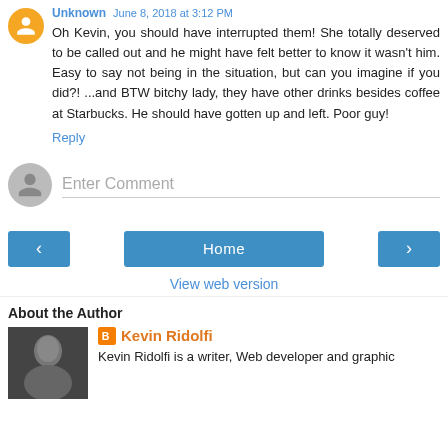Unknown June 8, 2018 at 3:12 PM
Oh Kevin, you should have interrupted them! She totally deserved to be called out and he might have felt better to know it wasn't him. Easy to say not being in the situation, but can you imagine if you did?! ...and BTW bitchy lady, they have other drinks besides coffee at Starbucks. He should have gotten up and left. Poor guy!
Reply
Enter Comment
Home
View web version
About the Author
Kevin Ridolfi
Kevin Ridolfi is a writer, Web developer and graphic